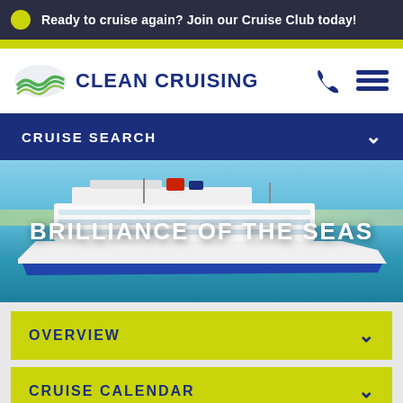Ready to cruise again? Join our Cruise Club today!
[Figure (logo): Clean Cruising logo with green wave icon and dark blue text]
CRUISE SEARCH
[Figure (photo): Brilliance of the Seas cruise ship docked in a port with blue sky and turquoise water]
BRILLIANCE OF THE SEAS
OVERVIEW
CRUISE CALENDAR
DESTINATIONS